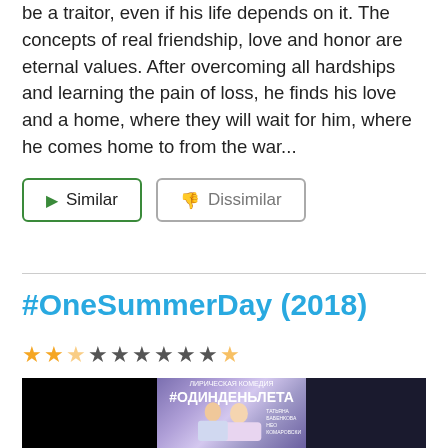be a traitor, even if his life depends on it. The concepts of real friendship, love and honor are eternal values. After overcoming all hardships and learning the pain of loss, he finds his love and a home, where they will wait for him, where he comes home to from the war...
[Figure (other): Two buttons: 'Similar' with green play-arrow icon in green-bordered box, and 'Dissimilar' with grey thumbs-down icon in grey-bordered box]
#OneSummerDay (2018)
[Figure (other): Star rating showing 2.5 out of 10 stars filled in gold, rest dark/empty]
[Figure (photo): Movie poster for #OneSummerDay (2018), Russian title #ОДИНДЕНЬЛЕТА, showing a man and woman couple on a purple/violet gradient background, black panels on sides]